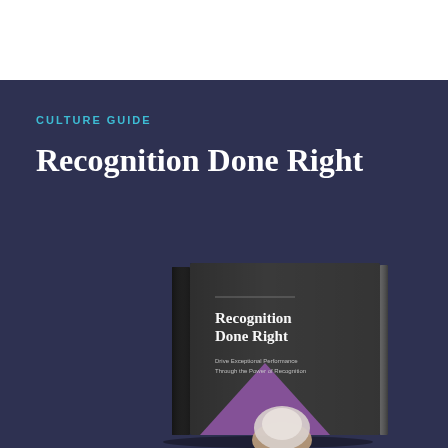CULTURE GUIDE
Recognition Done Right
[Figure (illustration): 3D book cover mockup showing 'Recognition Done Right' book with subtitle 'Drive Exceptional Performance Through the Power of Recognition' on a dark gray cover with a purple triangle and a woman's face visible at the bottom, against a deep navy background.]